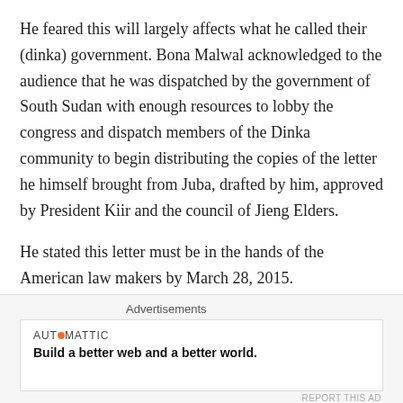He feared this will largely affects what he called their (dinka) government. Bona Malwal acknowledged to the audience that he was dispatched by the government of South Sudan with enough resources to lobby the congress and dispatch members of the Dinka community to begin distributing the copies of the letter he himself brought from Juba, drafted by him, approved by President Kiir and the council of Jieng Elders.
He stated this letter must be in the hands of the American law makers by March 28, 2015.
He added that the main objective of his visit in addition is to enlighten and educate the intelligentsia, specially form his
Advertisements
[Figure (other): Automattic advertisement banner with text 'AUT⊙MATTIC' and tagline 'Build a better web and a better world.']